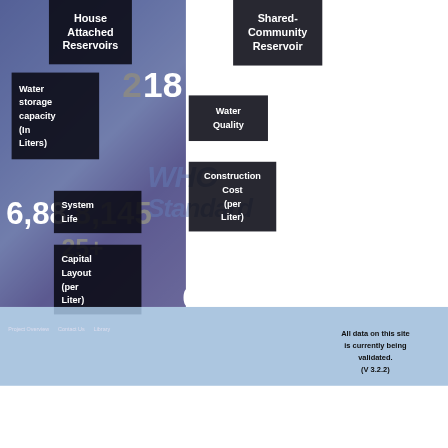House Attached Reservoirs
Shared-Community Reservoir
18
5
Water storage capacity (In Liters)
Water Quality
WHO Standard
System Life
Construction Cost (per Liter)
6,888,145
25+
Capital Layout (per Liter)
Rs
0.00179
Project Overview
Contact Us
All data on this site is currently being validated. (V 3.2.2)